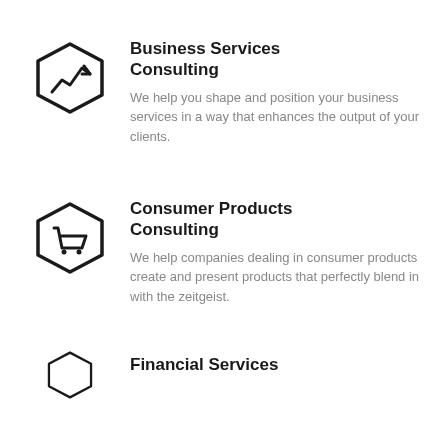[Figure (illustration): Hexagon icon with a line chart trending upward inside]
Business Services Consulting
We help you shape and position your business services in a way that enhances the output of your clients.
[Figure (illustration): Hexagon icon with a shopping cart inside]
Consumer Products Consulting
We help companies dealing in consumer products create and present products that perfectly blend in with the zeitgeist.
[Figure (illustration): Hexagon icon partially visible at bottom]
Financial Services